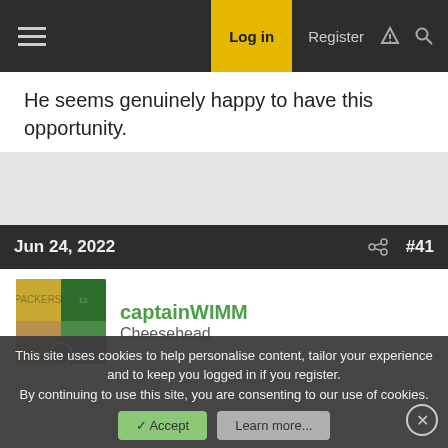Log in  Register
He seems genuinely happy to have this opportunity.
↩ Reply
Jun 24, 2022  #41
captainWIMM
Cheesehead
texaspackerbackerbacker said:
We oughta have a poll asking who someone thinks will be the Packers top WR this year or maybe ranking the top 5 or 6 or 7 or 8. For the first time in a lot of years, there could justifiably be a lot of
This site uses cookies to help personalise content, tailor your experience and to keep you logged in if you register.
By continuing to use this site, you are consenting to our use of cookies.